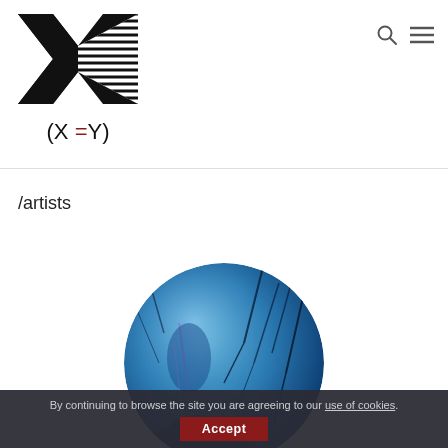[Figure (logo): X=Y logo: stylized X mark with horizontal lines on lower right portion, and text '(X=Y)' below]
[Figure (other): Search icon (magnifying glass) and hamburger menu icon in top right navigation]
/artists
[Figure (photo): Circular cropped artwork showing a blue-toned painting with dark branch silhouettes and a figure, atmospheric underwater or forest scene]
By continuing to browse the site you are agreeing to our use of cookies.
Accept